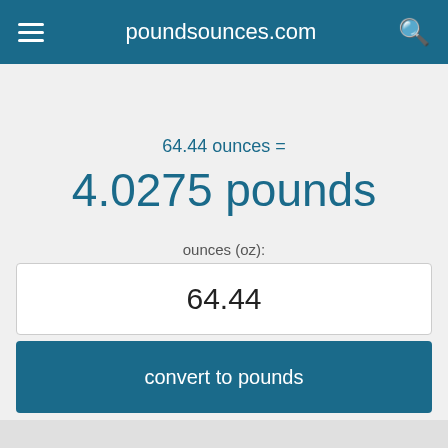poundsounces.com
64.44 ounces =
4.0275 pounds
ounces (oz):
64.44
convert to pounds